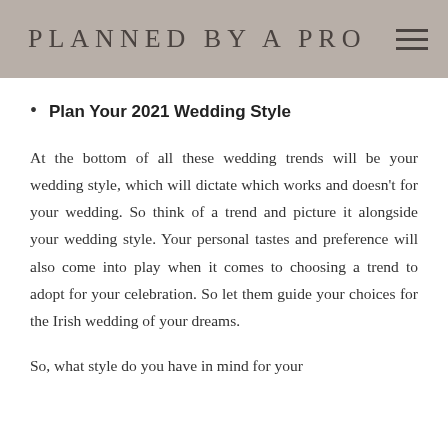PLANNED BY A PRO
Plan Your 2021 Wedding Style
At the bottom of all these wedding trends will be your wedding style, which will dictate which works and doesn't for your wedding. So think of a trend and picture it alongside your wedding style. Your personal tastes and preference will also come into play when it comes to choosing a trend to adopt for your celebration. So let them guide your choices for the Irish wedding of your dreams.
So, what style do you have in mind for your